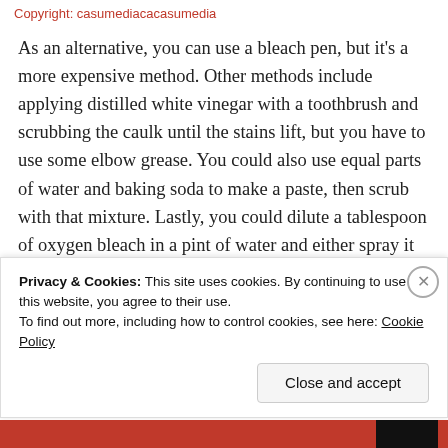Copyright: casumediacacasumedia
As an alternative, you can use a bleach pen, but it’s a more expensive method. Other methods include applying distilled white vinegar with a toothbrush and scrubbing the caulk until the stains lift, but you have to use some elbow grease. You could also use equal parts of water and baking soda to make a paste, then scrub with that mixture. Lastly, you could dilute a tablespoon of oxygen bleach in a pint of water and either spray it onto the caulk with a spray bottle, or use the solution to scrub the stains off with a toothbrush.
Privacy & Cookies: This site uses cookies. By continuing to use this website, you agree to their use.
To find out more, including how to control cookies, see here: Cookie Policy
Close and accept